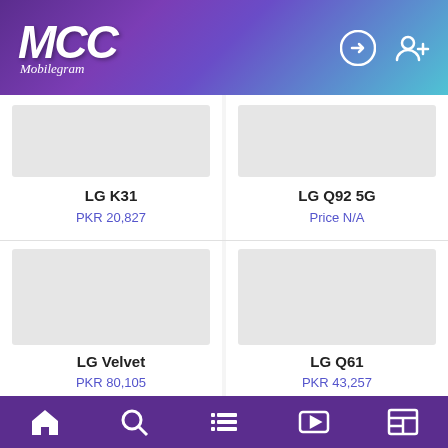MCC Mobilegram
[Figure (screenshot): Product card image placeholder for LG K31 - light gray rectangle]
LG K31
PKR 20,827
[Figure (screenshot): Product card image placeholder for LG Q92 5G - light gray rectangle]
LG Q92 5G
Price N/A
[Figure (screenshot): Product card image placeholder for LG Velvet - light gray rectangle]
LG Velvet
PKR 80,105
[Figure (screenshot): Product card image placeholder for LG Q61 - light gray rectangle]
LG Q61
PKR 43,257
Home | Search | List | Video | News